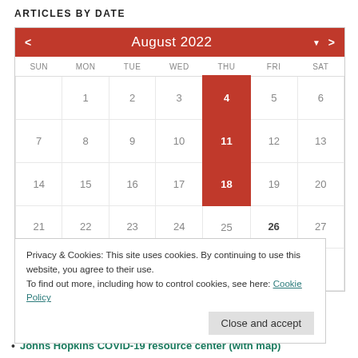ARTICLES BY DATE
[Figure (other): August 2022 calendar widget with navigation arrows, days of week headers (SUN MON TUE WED THU FRI SAT), dates 1-31. Dates 4, 11, 18 (all Thursdays) are highlighted in red. Date 26 (Friday) is bold. Dates 7-13, 14-20, 21-27, 28-31 rows shown.]
Privacy & Cookies: This site uses cookies. By continuing to use this website, you agree to their use.
To find out more, including how to control cookies, see here: Cookie Policy
Close and accept
Johns Hopkins COVID-19 resource center (with map)